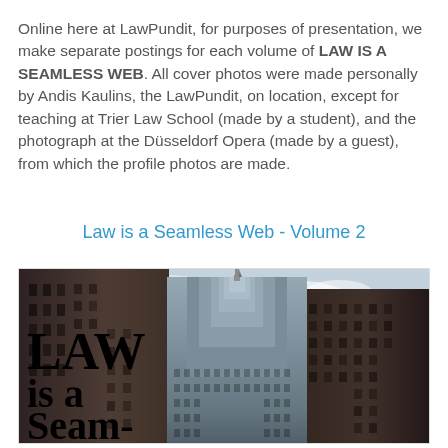Online here at LawPundit, for purposes of presentation, we make separate postings for each volume of LAW IS A SEAMLESS WEB. All cover photos were made personally by Andis Kaulins, the LawPundit, on location, except for teaching at Trier Law School (made by a student), and the photograph at the Düsseldorf Opera (made by a guest), from which the profile photos are made.
Law is a Seamless Web - Volume 2
[Figure (photo): Book cover of 'LAW is a Seamless Web' showing the Empire State Building viewed from between two dark buildings on either side, with text 'LAW is a Seam-less Web' overlaid on the lower left in bold serif font.]